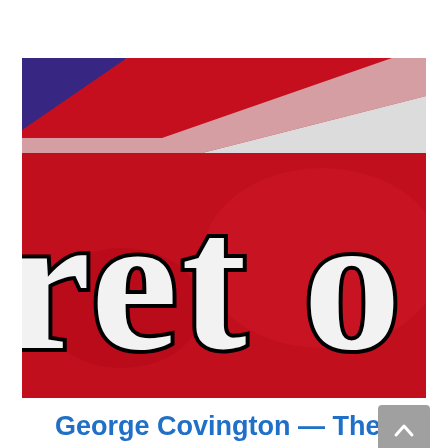[Figure (photo): Close-up photo of a book cover showing large bold letters 'ret o' (partial text, likely 'Secret of') on a red background with a partially visible flag (red, white, and blue/purple) at the top. The letters have a black outline with white/light fill.]
George Covington — The Secret of Politics